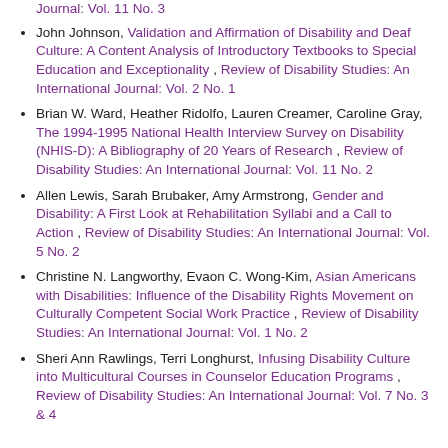Journal: Vol. 11 No. 3
John Johnson, Validation and Affirmation of Disability and Deaf Culture: A Content Analysis of Introductory Textbooks to Special Education and Exceptionality , Review of Disability Studies: An International Journal: Vol. 2 No. 1
Brian W. Ward, Heather Ridolfo, Lauren Creamer, Caroline Gray, The 1994-1995 National Health Interview Survey on Disability (NHIS-D): A Bibliography of 20 Years of Research , Review of Disability Studies: An International Journal: Vol. 11 No. 2
Allen Lewis, Sarah Brubaker, Amy Armstrong, Gender and Disability: A First Look at Rehabilitation Syllabi and a Call to Action , Review of Disability Studies: An International Journal: Vol. 5 No. 2
Christine N. Langworthy, Evaon C. Wong-Kim, Asian Americans with Disabilities: Influence of the Disability Rights Movement on Culturally Competent Social Work Practice , Review of Disability Studies: An International Journal: Vol. 1 No. 2
Sheri Ann Rawlings, Terri Longhurst, Infusing Disability Culture into Multicultural Courses in Counselor Education Programs , Review of Disability Studies: An International Journal: Vol. 7 No. 3 & 4